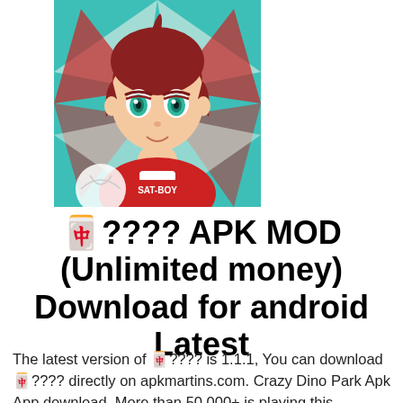[Figure (illustration): Anime-style character illustration of a boy with brown hair and green eyes wearing a red and white sports jersey with 'SAT-BOY' text, set against a teal and red starburst background. App icon style.]
🀄???? APK MOD (Unlimited money) Download for android Latest
The latest version of 🀄???? is 1.1.1, You can download 🀄???? directly on apkmartins.com. Crazy Dino Park Apk App download. More than 50,000+ is playing this app/game right now.